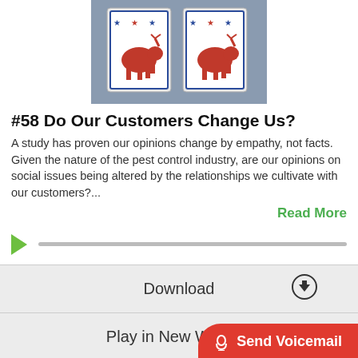[Figure (photo): Photo of political playing cards with Democrat donkey symbols and stars, wrapped in plastic packaging]
#58 Do Our Customers Change Us?
A study has proven our opinions change by empathy, not facts. Given the nature of the pest control industry, are our opinions on social issues being altered by the relationships we cultivate with our customers?...
Read More
[Figure (other): Audio player with green play button and progress bar]
Download
Play in New Window
Send Voicemail